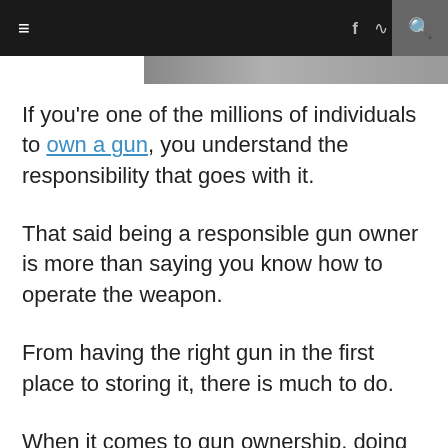≡  f  ↝  🔍
[Figure (photo): Partial image strip visible at top of content area]
If you're one of the millions of individuals to own a gun, you understand the responsibility that goes with it.
That said being a responsible gun owner is more than saying you know how to operate the weapon.
From having the right gun in the first place to storing it, there is much to do.
When it comes to gun ownership, doing all the right things makes for safer times for you and others around you.